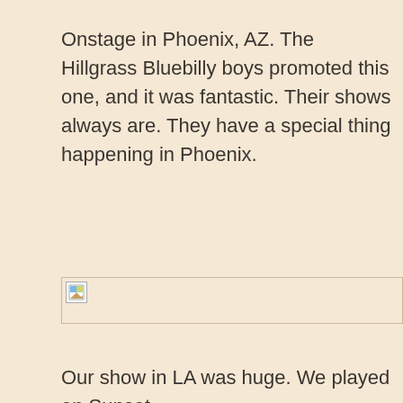Onstage in Phoenix, AZ. The Hillgrass Bluebilly boys promoted this one, and it was fantastic. Their shows always are. They have a special thing happening in Phoenix.
[Figure (photo): Broken/missing image placeholder with small icon]
Our show in LA was huge. We played on Sunset